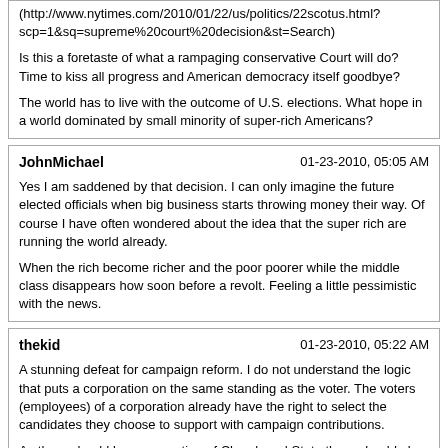(http://www.nytimes.com/2010/01/22/us/politics/22scotus.html?scp=1&sq=supreme%20court%20decision&st=Search)

Is this a foretaste of what a rampaging conservative Court will do? Time to kiss all progress and American democracy itself goodbye?

The world has to live with the outcome of U.S. elections. What hope in a world dominated by small minority of super-rich Americans?
JohnMichael | 01-23-2010, 05:05 AM

Yes I am saddened by that decision. I can only imagine the future elected officials when big business starts throwing money their way. Of course I have often wondered about the idea that the super rich are running the world already.

When the rich become richer and the poor poorer while the middle class disappears how soon before a revolt. Feeling a little pessimistic with the news.
thekid | 01-23-2010, 05:22 AM

A stunning defeat for campaign reform. I do not understand the logic that puts a corporation on the same standing as the voter. The voters (employees) of a corporation already have the right to select the candidates they choose to support with campaign contributions.

As there should be a separation of Church and State there should also be a separation of Business and State. Governments need to be involved in forming business policies but Business (including Labor unions) does not need to be involved in forming Government.
02audionoob | 01-23-2010, 09:34 AM

I noticed your Supreme Court decision: amazing. :frown2: